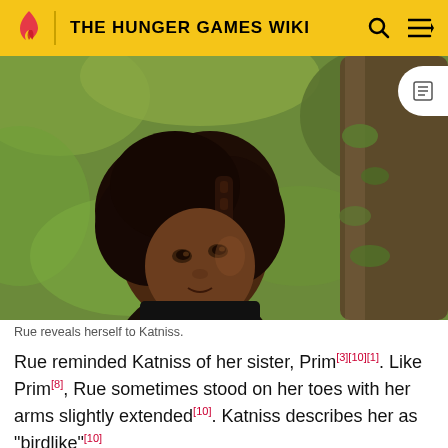THE HUNGER GAMES WIKI
[Figure (photo): A young Black girl with curly natural hair, peeking around a moss-covered tree trunk in a forest setting. She looks to the side with a cautious expression. This is Rue from The Hunger Games film.]
Rue reveals herself to Katniss.
Rue reminded Katniss of her sister, Prim[3][10][1]. Like Prim[8], Rue sometimes stood on her toes with her arms slightly extended[10]. Katniss describes her as "birdlike"[10]